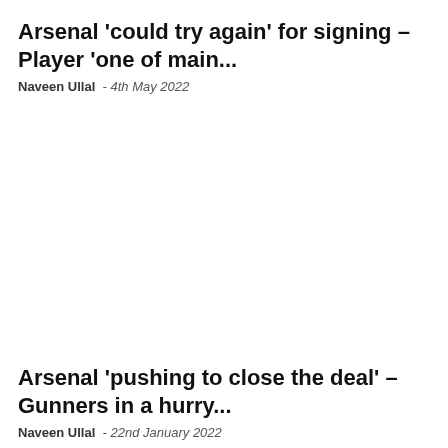Arsenal 'could try again' for signing – Player 'one of main...
Naveen Ullal  -  4th May 2022
Arsenal 'pushing to close the deal' – Gunners in a hurry...
Naveen Ullal  -  22nd January 2022